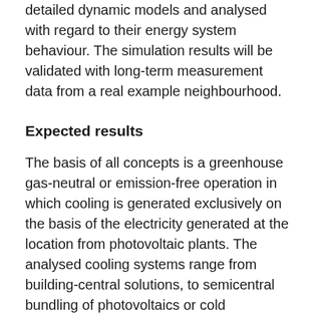detailed dynamic models and analysed with regard to their energy system behaviour. The simulation results will be validated with long-term measurement data from a real example neighbourhood.
Expected results
The basis of all concepts is a greenhouse gas-neutral or emission-free operation in which cooling is generated exclusively on the basis of the electricity generated at the location from photovoltaic plants. The analysed cooling systems range from building-central solutions, to semicentral bundling of photovoltaics or cold generation, through to fully district central systems.
In order to be able to operate the cooling systems as